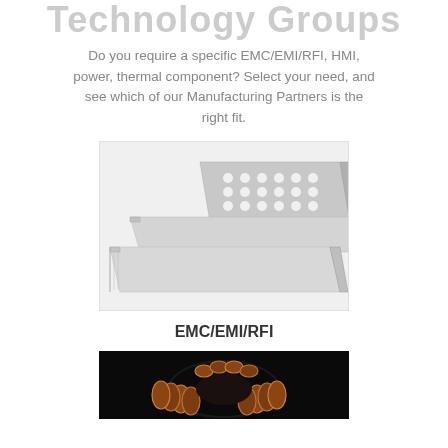Technology Groups
Do you require a specific EMC/EMI/RFI, HMI, power, thermal component? Select your need, and see which of our Manufacturing Partners is the right fit.
[Figure (photo): Metal EMC/EMI/RFI shielding panels - two flat perforated aluminum plates and one flat solid plate arranged in an overlapping display on white background]
EMC/EMI/RFI
[Figure (photo): Copper toroidal inductor coil on black background, showing coiled copper wire wrapped around a black toroid core]